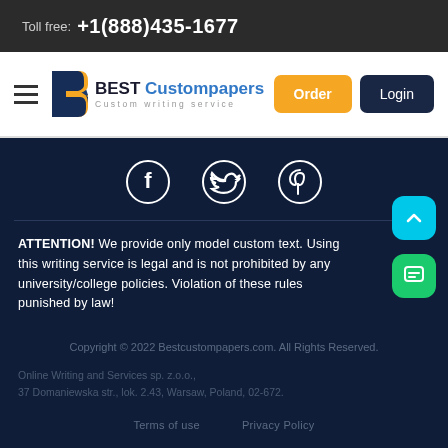Toll free: +1(888)435-1677
[Figure (logo): Best Custom Papers logo with navigation bar showing Order and Login buttons]
[Figure (illustration): Social media icons: Facebook, Twitter, Pinterest in circles on dark navy background]
ATTENTION! We provide only model custom text. Using this writing service is legal and is not prohibited by any university/college policies. Violation of these rules punished by law!
Copyright © 2022 Bestcustompapers.com. All Rights Reserved.
Online Writing and Services sp. z.o.o., 37 Domaniewska str., lok. 2.43, Warsaw, Poland, 02-672.
Terms of use   Privacy Policy